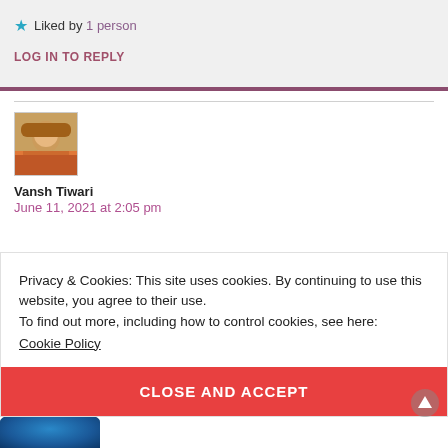★ Liked by 1 person
LOG IN TO REPLY
[Figure (photo): Avatar photo of Vansh Tiwari]
Vansh Tiwari
June 11, 2021 at 2:05 pm
Privacy & Cookies: This site uses cookies. By continuing to use this website, you agree to their use.
To find out more, including how to control cookies, see here: Cookie Policy
CLOSE AND ACCEPT